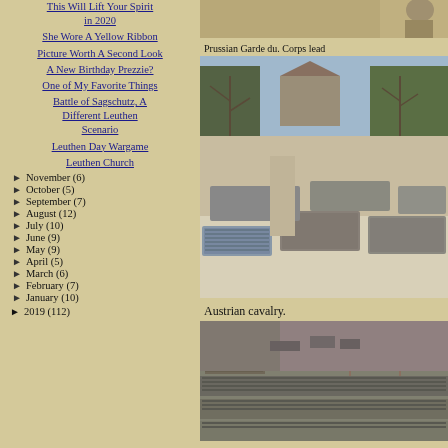This Will Lift Your Spirit in 2020
She Wore A Yellow Ribbon
Picture Worth A Second Look
A New Birthday Prezzie?
One of My Favorite Things
Battle of Sagschutz, A Different Leuthen Scenario
Leuthen Day Wargame
Leuthen Church
► November (6)
► October (5)
► September (7)
► August (12)
► July (10)
► June (9)
► May (9)
► April (5)
► March (6)
► February (7)
► January (10)
► 2019 (112)
[Figure (photo): Partial view of Prussian Garde du Corps lead figures at top]
Prussian Garde du. Corps lead
[Figure (photo): Wargame miniatures battle scene with troops in formation on a snowy terrain with trees and buildings]
Austrian cavalry.
[Figure (photo): Austrian cavalry miniatures arranged in battle formation]